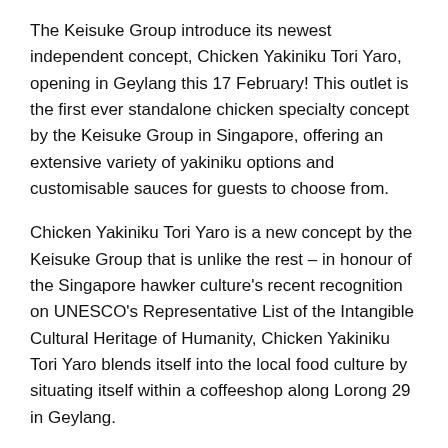The Keisuke Group introduce its newest independent concept, Chicken Yakiniku Tori Yaro, opening in Geylang this 17 February! This outlet is the first ever standalone chicken specialty concept by the Keisuke Group in Singapore, offering an extensive variety of yakiniku options and customisable sauces for guests to choose from.
Chicken Yakiniku Tori Yaro is a new concept by the Keisuke Group that is unlike the rest – in honour of the Singapore hawker culture's recent recognition on UNESCO's Representative List of the Intangible Cultural Heritage of Humanity, Chicken Yakiniku Tori Yaro blends itself into the local food culture by situating itself within a coffeeshop along Lorong 29 in Geylang.
When you think Yakiniku, the Japanese term for grilled meat, you usually think beef, pork and vegetables. Chicken Yakiniku Tori Yaro specialises in chicken, with a wide selection of cuts to allow diners to taste different textures such as the tender Chicken Thigh, firm-fatty cut of the Chicken Tail, soft-juicy Tsukune meatballs, or more uncommon cuts such as chewy Chicken Gizzard, crunchy Chicken Soft Bone or